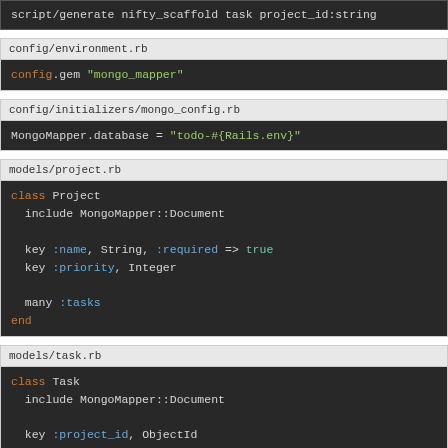[Figure (screenshot): Partial code block showing: script/generate nifty_scaffold task project_id:string]
config/environment.rb
config.gem "mongo_mapper"
config/initializers/mongo_config.rb
MongoMapper.database = "todo-#{Rails.env}"
models/project.rb
class Project
  include MongoMapper::Document

  key :name, String, :required => true
  key :priority, Integer

  many :tasks
end
models/task.rb
class Task
  include MongoMapper::Document

  key :project_id, ObjectId
  key ...